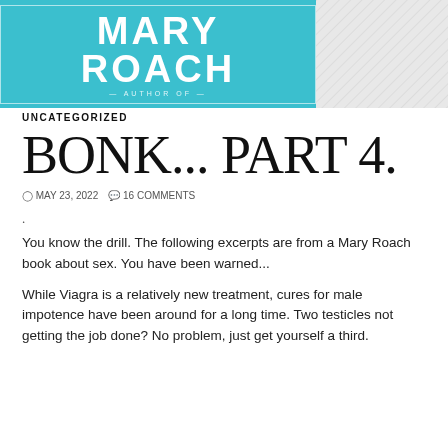[Figure (other): Book banner with teal background showing author name MARY ROACH in large white bold letters with border, and a hatched gray section to the right. A dark bar across the top of the teal section.]
UNCATEGORIZED
BONK... PART 4.
MAY 23, 2022  16 COMMENTS
.
You know the drill. The following excerpts are from a Mary Roach book about sex. You have been warned...
While Viagra is a relatively new treatment, cures for male impotence have been around for a long time. Two testicles not getting the job done? No problem, just get yourself a third.